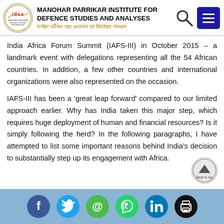MANOHAR PARRIKAR INSTITUTE FOR DEFENCE STUDIES AND ANALYSES | मनोहर पर्रिकर रक्षा अध्ययन एवं विश्लेषण संस्थान
India Africa Forum Summit (IAFS-III) in October 2015 – a landmark event with delegations representing all the 54 African countries. In addition, a few other countries and international organizations were also represented on the occasion.
IAFS-III has been a 'great leap forward' compared to our limited approach earlier. Why has India taken this major step, which requires huge deployment of human and financial resources? Is it simply following the herd? In the following paragraphs, I have attempted to list some important reasons behind India's decision to substantially step up its engagement with Africa.
Social share icons: Facebook, Twitter, Email, WhatsApp, LinkedIn, Print